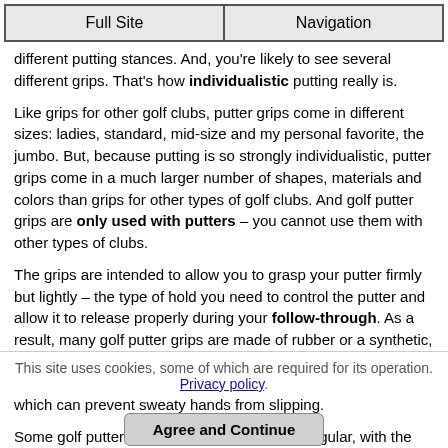Full Site | Navigation
different putting stances. And, you're likely to see several different grips. That's how individualistic putting really is.
Like grips for other golf clubs, putter grips come in different sizes: ladies, standard, mid-size and my personal favorite, the jumbo. But, because putting is so strongly individualistic, putter grips come in a much larger number of shapes, materials and colors than grips for other types of golf clubs. And golf putter grips are only used with putters – you cannot use them with other types of clubs.
The grips are intended to allow you to grasp your putter firmly but lightly – the type of hold you need to control the putter and allow it to release properly during your follow-through. As a result, many golf putter grips are made of rubber or a synthetic, soft and tacky "rubberized" compound that is intended to deliver both comfort and feel. Others have a rougher texture which can prevent sweaty hands from slipping.
Some golf putter grips are more or less rectangular, with the narrower sides of the grips being down the length of the shaft. Others are oval, although even these feature a flattened area at the top which allows your thumbs to rest comfortably and securely as you're grasping the club (only
This site uses cookies, some of which are required for its operation. Privacy policy.
Agree and Continue